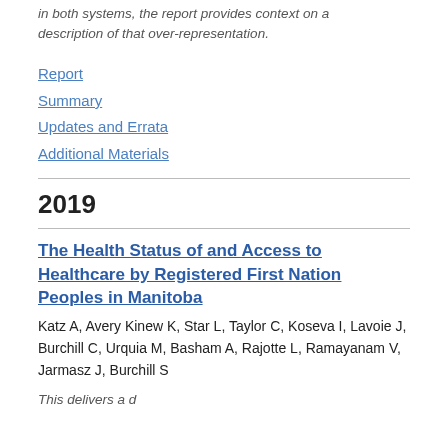in both systems, the report provides context on a description of that over-representation.
Report
Summary
Updates and Errata
Additional Materials
2019
The Health Status of and Access to Healthcare by Registered First Nation Peoples in Manitoba
Katz A, Avery Kinew K, Star L, Taylor C, Koseva I, Lavoie J, Burchill C, Urquia M, Basham A, Rajotte L, Ramayanam V, Jarmasz J, Burchill S
This delivers a description of the report's content on a